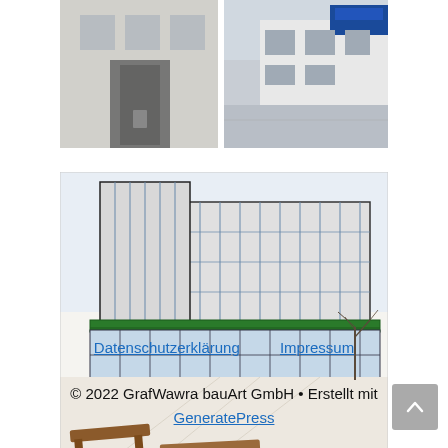[Figure (photo): Two photographs side by side showing a building exterior: left photo shows a white building entrance, right photo shows a modern building facade with blue signage and parking area.]
[Figure (illustration): Architectural sketch/rendering of a modern commercial building showing perspective view with glass facade, green canopy, outdoor seating benches, and bare trees. Drawn in ink with colored accents in brown and green.]
Datenschutzerklärung    Impressum
© 2022 GrafWawra bauArt GmbH • Erstellt mit GeneratePress